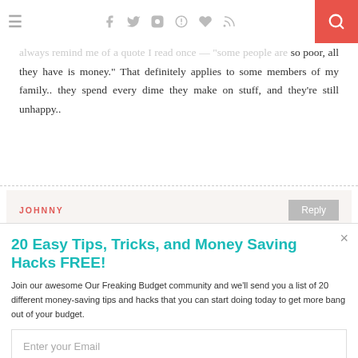≡  f  t  ◻  ⊕  ♥  )))  🔍
always remind me of a quote I read once — "some people are so poor, all they have is money." That definitely applies to some members of my family.. they spend every dime they make on stuff, and they're still unhappy..
JOHNNY
Reply
20 Easy Tips, Tricks, and Money Saving Hacks FREE!
Join our awesome Our Freaking Budget community and we'll send you a list of 20 different money-saving tips and hacks that you can start doing today to get more bang out of your budget.
Enter your Email
Sign Me Up!